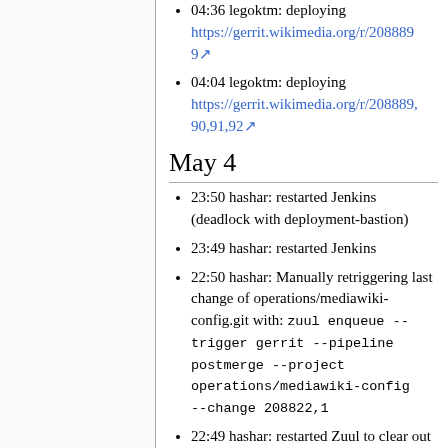04:36 legoktm: deploying https://gerrit.wikimedia.org/r/2088899
04:04 legoktm: deploying https://gerrit.wikimedia.org/r/208889,90,91,92
May 4
23:50 hashar: restarted Jenkins (deadlock with deployment-bastion)
23:49 hashar: restarted Jenkins
22:50 hashar: Manually retriggering last change of operations/mediawiki-config.git with: zuul enqueue --trigger gerrit --pipeline postmerge --project operations/mediawiki-config --change 208822,1
22:49 hashar: restarted Zuul to clear out a bunch of operations/mediawiki...